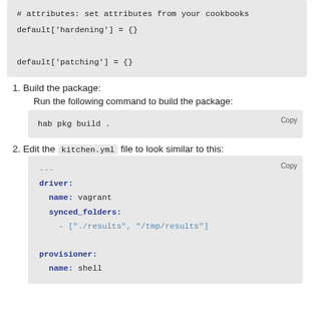[Figure (screenshot): Code block showing Ruby attributes: # attributes: set attributes from your cookbooks, default['hardening'] = {}, default['patching'] = {}]
1. Build the package:
Run the following command to build the package:
[Figure (screenshot): Code block: hab pkg build .]
2. Edit the kitchen.yml file to look similar to this:
[Figure (screenshot): Code block showing kitchen.yml YAML: --- driver: name: vagrant synced_folders: - ["./results", "/tmp/results"] provisioner: name: shell]